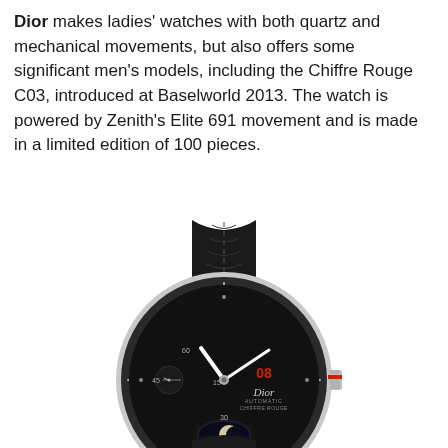Dior makes ladies' watches with both quartz and mechanical movements, but also offers some significant men's models, including the Chiffre Rouge C03, introduced at Baselworld 2013. The watch is powered by Zenith's Elite 691 movement and is made in a limited edition of 100 pieces.
[Figure (photo): A Dior Chiffre Rouge C03 watch with a black dial, silver case, black crocodile-leather strap, moon phase complication, date display showing 08, and a red-tipped crown. The watch is shown from a slightly elevated angle.]